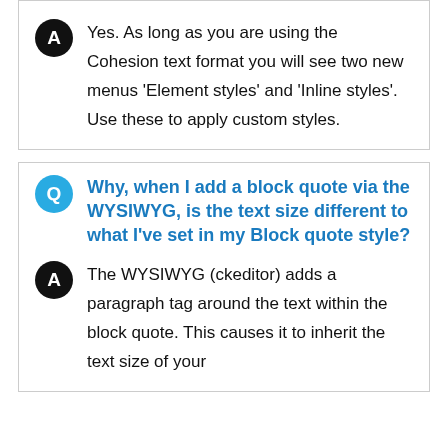in the WYSIWYG?
Yes. As long as you are using the Cohesion text format you will see two new menus 'Element styles' and 'Inline styles'. Use these to apply custom styles.
Why, when I add a block quote via the WYSIWYG, is the text size different to what I've set in my Block quote style?
The WYSIWYG (ckeditor) adds a paragraph tag around the text within the block quote. This causes it to inherit the text size of your